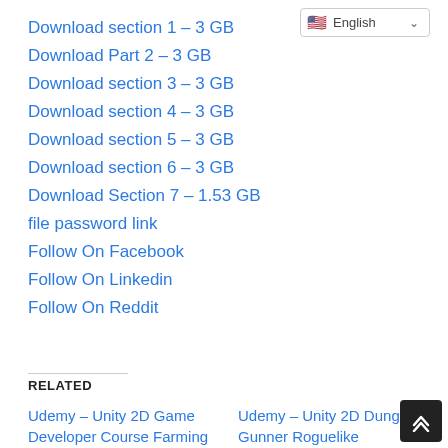English (language selector)
Download section 1 – 3 GB
Download Part 2 – 3 GB
Download section 3 – 3 GB
Download section 4 – 3 GB
Download section 5 – 3 GB
Download section 6 – 3 GB
Download Section 7 – 1.53 GB
file password link
Follow On Facebook
Follow On Linkedin
Follow On Reddit
RELATED
Udemy – Unity 2D Game Developer Course Farming RPG 2022
May 6, 2022
In "Videos"
Udemy – Unity 2D Dungeon Gunner Roguelike Development Course 2022
April 12, 2022